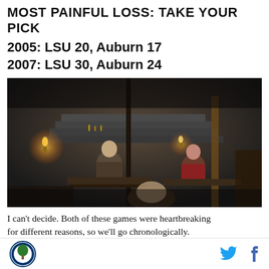MOST PAINFUL LOSS: TAKE YOUR PICK
2005: LSU 20, Auburn 17
2007: LSU 30, Auburn 24
[Figure (photo): Dark scene from what appears to be a movie or TV show set in a medieval or fantasy environment, showing people seated at tables in a dimly lit stone room with torches.]
I can't decide. Both of these games were heartbreaking for different reasons, so we'll go chronologically.
Auburn logo | Twitter | Facebook